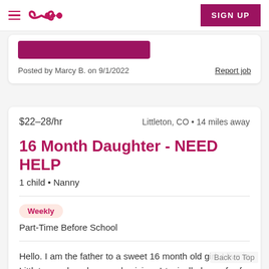Care.com navigation bar with hamburger menu, logo, and SIGN UP button
Posted by Marcy B. on 9/1/2022
Report job
$22–28/hr
Littleton, CO • 14 miles away
16 Month Daughter - NEED HELP
1 child • Nanny
Weekly
Part-Time Before School
Hello. I am the father to a sweet 16 month old girl. I live in Littleton and work as a physician. I typically leave for for work about 5:30-6:00 am. My daughter attends daycare in the Wheat Ridge area closer to her